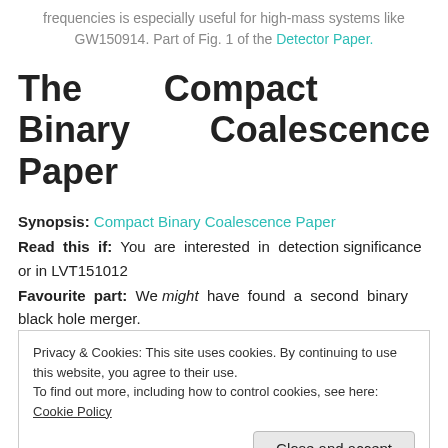frequencies is especially useful for high-mass systems like GW150914. Part of Fig. 1 of the Detector Paper.
The Compact Binary Coalescence Paper
Synopsis: Compact Binary Coalescence Paper
Read this if: You are interested in detection significance or in LVT151012
Favourite part: We might have found a second binary black hole merger.
Privacy & Cookies: This site uses cookies. By continuing to use this website, you agree to their use.
To find out more, including how to control cookies, see here: Cookie Policy
for anything binary like they then calculate the